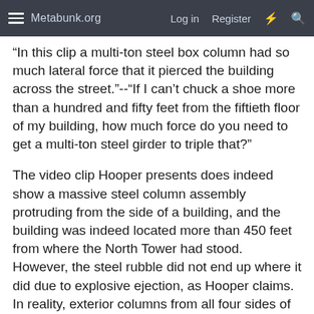Metabunk.org   Log in   Register
"In this clip a multi-ton steel box column had so much lateral force that it pierced the building across the street."--"If I can't chuck a shoe more than a hundred and fifty feet from the fiftieth floor of my building, how much force do you need to get a multi-ton steel girder to triple that?"
The video clip Hooper presents does indeed show a massive steel column assembly protruding from the side of a building, and the building was indeed located more than 450 feet from where the North Tower had stood. However, the steel rubble did not end up where it did due to explosive ejection, as Hooper claims. In reality, exterior columns from all four sides of each tower fell at great distances by leaning out and breaking off in great sheets after the